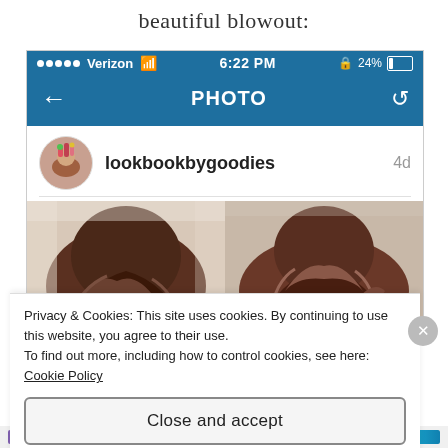beautiful blowout:
[Figure (screenshot): A screenshot of an Instagram photo page on an iPhone with Verizon carrier, showing 6:22 PM and 24% battery. The navigation bar shows PHOTO title. The profile username is lookbookbygoodies posted 4d ago. The photo shows two side-by-side images of a woman's hair from behind — before and after a blowout.]
Privacy & Cookies: This site uses cookies. By continuing to use this website, you agree to their use.
To find out more, including how to control cookies, see here: Cookie Policy
Close and accept